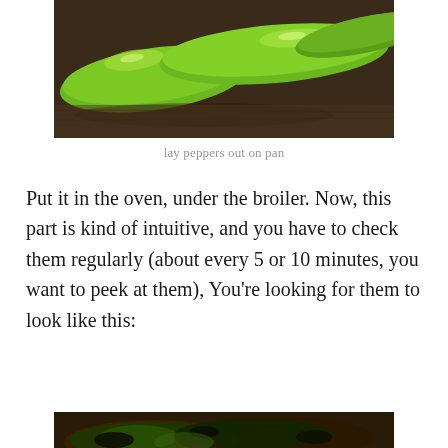[Figure (photo): Close-up photo of bright green peppers lying on a dark surface]
lay peppers out on pan
Put it in the oven, under the broiler. Now, this part is kind of intuitive, and you have to check them regularly (about every 5 or 10 minutes, you want to peek at them), You're looking for them to look like this:
[Figure (photo): Photo of roasted/charred peppers on a pan, partially visible at bottom of page]